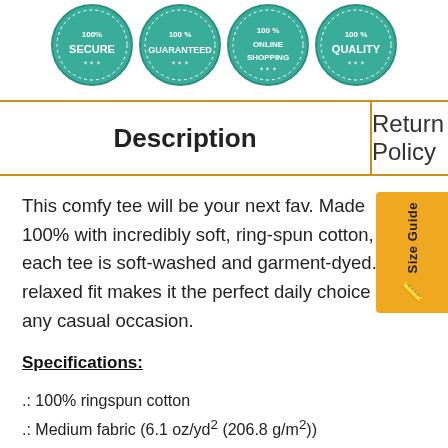[Figure (illustration): Four teal circular badge seals at the top: SECURE, 100% GUARANTEED, 100% ONLINE SHOPPING, 100% QUALITY]
| Description | Return Policy |
| --- | --- |
This comfy tee will be your next fav. Made 100% with incredibly soft, ring-spun cotton, each tee is soft-washed and garment-dyed. Its relaxed fit makes it the perfect daily choice for any casual occasion.
Specifications:
.: 100% ringspun cotton
.: Medium fabric (6.1 oz/yd² (206.8 g/m²))
.: Garment-dyed color blast fabric